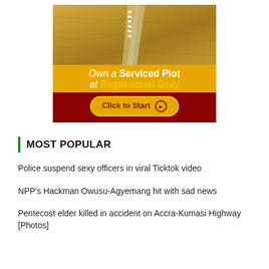[Figure (infographic): Advertisement for Regimanuel Gray serviced plots. Aerial photo of land with a road, yellow bar reading 'Own a Serviced Plot at Regimanuel Gray', dark red bar with 'Click to Start' button.]
MOST POPULAR
Police suspend sexy officers in viral Ticktok video
NPP's Hackman Owusu-Agyemang hit with sad news
Pentecost elder killed in accident on Accra-Kumasi Highway [Photos]